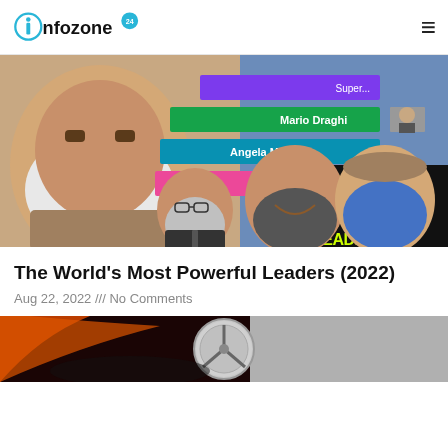infozone24
[Figure (photo): Collage image showing world leaders including Narendra Modi, Mario Draghi, Angela Merkel, and others with text overlay reading WORLD'S MOST POPULAR LEADERS and colored bar chart strips in background]
The World's Most Powerful Leaders (2022)
Aug 22, 2022 /// No Comments
[Figure (photo): Partial bottom image showing a Mercedes-Benz logo/emblem on dark red/black background, partially cropped]